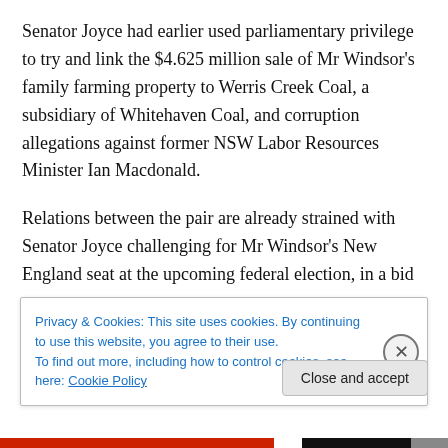Senator Joyce had earlier used parliamentary privilege to try and link the $4.625 million sale of Mr Windsor's family farming property to Werris Creek Coal, a subsidiary of Whitehaven Coal, and corruption allegations against former NSW Labor Resources Minister Ian Macdonald.
Relations between the pair are already strained with Senator Joyce challenging for Mr Windsor's New England seat at the upcoming federal election, in a bid
Privacy & Cookies: This site uses cookies. By continuing to use this website, you agree to their use.
To find out more, including how to control cookies, see here: Cookie Policy